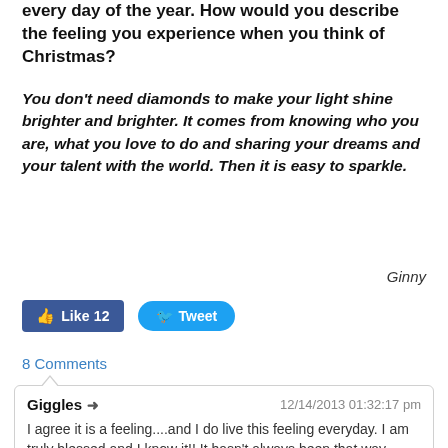every day of the year.  How would you describe the feeling you experience when you think of Christmas?
You don't need diamonds to make your light shine brighter and brighter.  It comes from knowing who you are, what you love to do and sharing your dreams and your talent with the world.  Then it is easy to sparkle.
Ginny
[Figure (infographic): Facebook Like button showing 12 likes and a Twitter Tweet button]
8 Comments
Giggles ➜  12/14/2013 01:32:17 pm
I agree it is a feeling....and I do live this feeling everyday. I am truly blessed and I know it!! It hasn't always been that way though...but for the last 17 years it's been peaceful, loving peppered with laughs!
May the spirit of Christmas live in your heart all year long....that's what my cards say this year!! I think we are on the same page!! Great post!